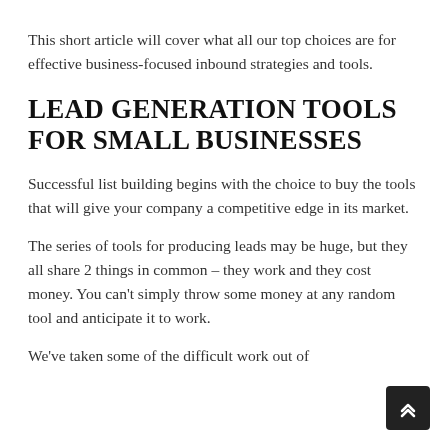This short article will cover what all our top choices are for effective business-focused inbound strategies and tools.
LEAD GENERATION TOOLS FOR SMALL BUSINESSES
Successful list building begins with the choice to buy the tools that will give your company a competitive edge in its market.
The series of tools for producing leads may be huge, but they all share 2 things in common – they work and they cost money. You can't simply throw some money at any random tool and anticipate it to work.
We've taken some of the difficult work out of